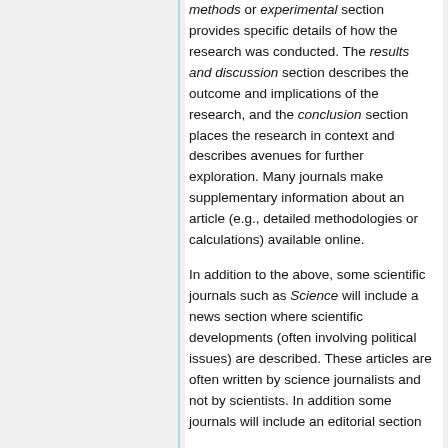methods or experimental section provides specific details of how the research was conducted. The results and discussion section describes the outcome and implications of the research, and the conclusion section places the research in context and describes avenues for further exploration. Many journals make supplementary information about an article (e.g., detailed methodologies or calculations) available online.

In addition to the above, some scientific journals such as Science will include a news section where scientific developments (often involving political issues) are described. These articles are often written by science journalists and not by scientists. In addition some journals will include an editorial section